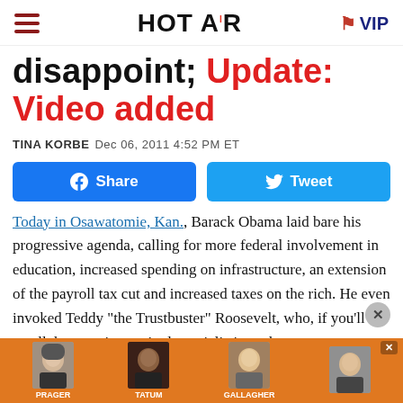HOT AIR VIP
disappoint; Update: Video added
TINA KORBE  Dec 06, 2011 4:52 PM ET
Share  Tweet
Today in Osawatomie, Kan., Barack Obama laid bare his progressive agenda, calling for more federal involvement in education, increased spending on infrastructure, an extension of the payroll tax cut and increased taxes on the rich. He even invoked Teddy “the Trustbuster” Roosevelt, who, if you’ll recall, became increasingly socialistic as th
[Figure (photo): Advertisement banner showing Prager, Tatum, Gallagher, and another host on an orange background]